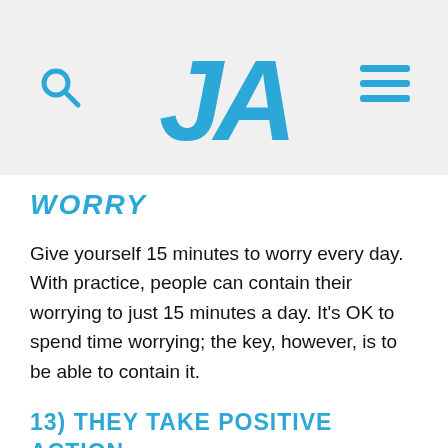[Figure (logo): JA logo in blue bold stylized letters on light gray header bar with search icon on left and hamburger menu icon on right]
WORRY
Give yourself 15 minutes to worry every day. With practice, people can contain their worrying to just 15 minutes a day. It’s OK to spend time worrying; the key, however, is to be able to contain it.
13) THEY TAKE POSITIVE ACTION
Do something kind and positive for someone. Be kind to your neighbor. Send a